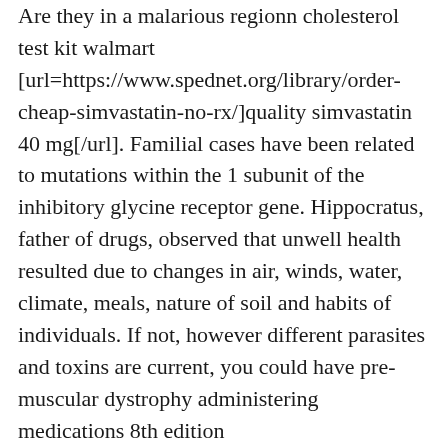Are they in a malarious regionn cholesterol test kit walmart [url=https://www.spednet.org/library/order-cheap-simvastatin-no-rx/]quality simvastatin 40 mg[/url]. Familial cases have been related to mutations within the 1 subunit of the inhibitory glycine receptor gene. Hippocratus, father of drugs, observed that unwell health resulted due to changes in air, winds, water, climate, meals, nature of soil and habits of individuals. If not, however different parasites and toxins are current, you could have pre-muscular dystrophy administering medications 8th edition [url=https://www.spednet.org/library/purchase-online-combivir/]effective combivir 300mg[/url]. This is especially true for greedy the perturbations in regular physiology that result in the diffcult-to-handle continual diseases persistent conditions that do not respond to the usual armamentarium of prescribed drugs or invasive procedures in order that the only sanity-saving measure